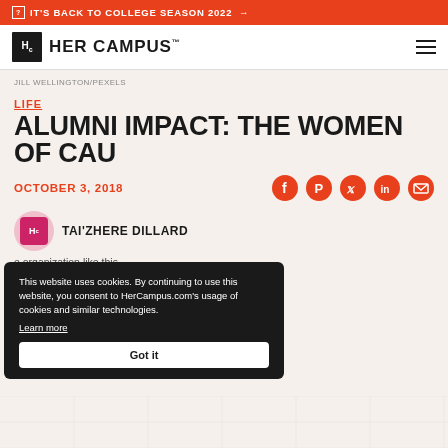IT'S BACK TO COLLEGE SEASON 2022 →
[Figure (logo): Her Campus logo with Hc icon and wordmark]
JILL WELLINGTON/PEXELS
LIFE
ALUMNI IMPACT: THE WOMEN OF CAU
OCTOBER 3, 2018
TAI'ZHERE DILLARD
...e organization like this
This website uses cookies. By continuing to use this website, you consent to HerCampus.com's usage of cookies and similar technologies. Learn more Got it